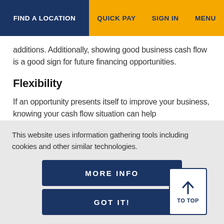FIND A LOCATION  QUICK PAY  SIGN IN  MENU
additions. Additionally, showing good business cash flow is a good sign for future financing opportunities.
Flexibility
If an opportunity presents itself to improve your business, knowing your cash flow situation can help
This website uses information gathering tools including cookies and other similar technologies.
MORE INFO
GOT IT!
TO TOP